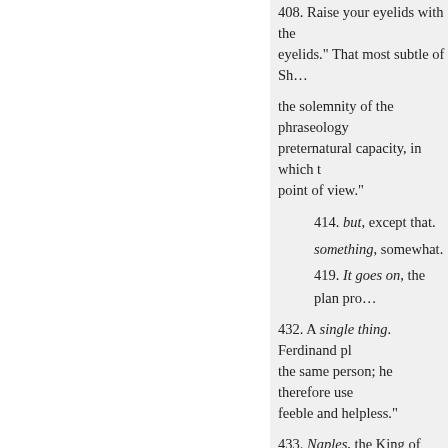408. Raise your eyelids with the eyelids." That most subtle of Sh…
the solemnity of the phraseology preternatural capacity, in which t point of view."
414. but, except that.
something, somewhat.
419. It goes on, the plan pro…
432. A single thing. Ferdinand pl the same person; he therefore use feeble and helpless."
433. Naples, the King of Naples. since then flooded with tears
438. And his brave son. There is appeared in some lost source of T Shakespeare, as Theobald sugges thoughts found it unnecessary.
The Duke of Milan, Prospero, the
439. more braver. For the double
« Zurück